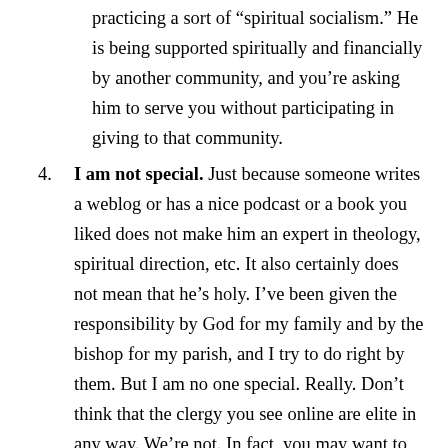practicing a sort of “spiritual socialism.” He is being supported spiritually and financially by another community, and you’re asking him to serve you without participating in giving to that community.
4. I am not special. Just because someone writes a weblog or has a nice podcast or a book you liked does not make him an expert in theology, spiritual direction, etc. It also certainly does not mean that he’s holy. I’ve been given the responsibility by God for my family and by the bishop for my parish, and I try to do right by them. But I am no one special. Really. Don’t think that the clergy you see online are elite in any way. We’re not. In fact, you may want to